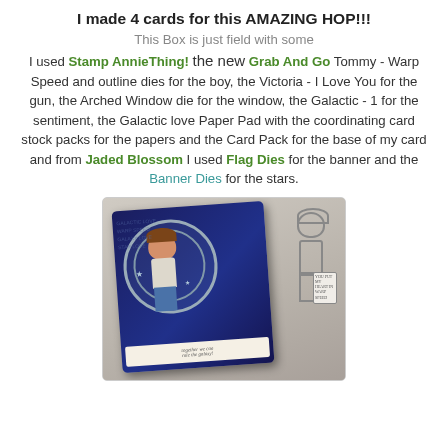I made 4 cards for this AMAZING HOP!!!
This Box is just field with some
I used Stamp AnnieThing! the new Grab And Go Tommy - Warp Speed and outline dies for the boy, the Victoria - I Love You for the gun, the Arched Window die for the window, the Galactic - 1 for the sentiment, the Galactic love Paper Pad with the coordinating card stock packs for the papers and the Card Pack for the base of my card and from Jaded Blossom I used Flag Dies for the banner and the Banner Dies for the stars.
[Figure (photo): Craft card featuring a colored cartoon boy holding a gun in front of a circular arched window die cut on a dark blue galactic background, with banner strip reading 'together we can rule the galaxy', alongside an uncolored outline stamp of the same character holding a small sign]